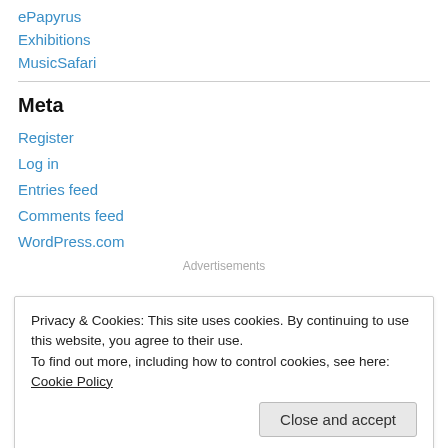ePapyrus
Exhibitions
MusicSafari
Meta
Register
Log in
Entries feed
Comments feed
WordPress.com
Advertisements
Privacy & Cookies: This site uses cookies. By continuing to use this website, you agree to their use.
To find out more, including how to control cookies, see here: Cookie Policy
Close and accept
[Figure (screenshot): Explore options button and partial advertisement images at bottom of page]